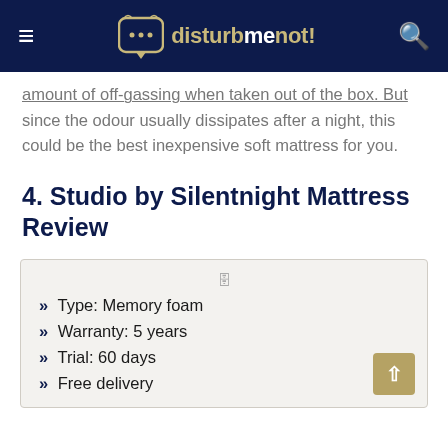disturbmenot!
amount of off-gassing when taken out of the box. But since the odour usually dissipates after a night, this could be the best inexpensive soft mattress for you.
4. Studio by Silentnight Mattress Review
[Figure (infographic): Info box with mattress specs: Type: Memory foam, Warranty: 5 years, Trial: 60 days, Free delivery]
Type: Memory foam
Warranty: 5 years
Trial: 60 days
Free delivery